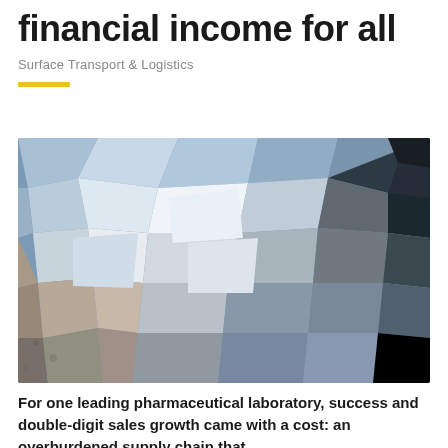financial income for all
Surface Transport & Logistics
[Figure (illustration): Abstract low-poly geometric mosaic illustration with blue, grey, white and dark tones forming a textured background pattern]
For one leading pharmaceutical laboratory, success and double-digit sales growth came with a cost: an overburdened supply chain that